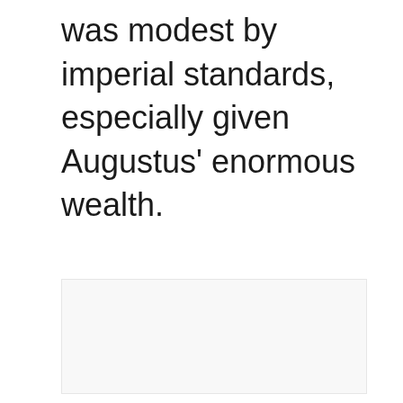was modest by imperial standards, especially given Augustus' enormous wealth.
[Figure (other): Large light gray/off-white blank rectangular area, likely a placeholder for an image or figure.]